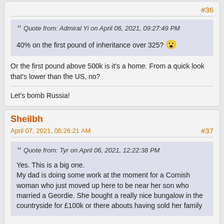#36
Quote from: Admiral Yi on April 06, 2021, 09:27:49 PM
40% on the first pound of inheritance over 325? 😮
Or the first pound above 500k is it's a home. From a quick look that's lower than the US, no?
Let's bomb Russia!
Sheilbh
April 07, 2021, 06:26:21 AM
#37
Quote from: Tyr on April 06, 2021, 12:22:38 PM
Yes. This is a big one.
My dad is doing some work at the moment for a Cornish woman who just moved up here to be near her son who married a Geordie. She bought a really nice bungalow in the countryside for £100k or there abouts having sold her family